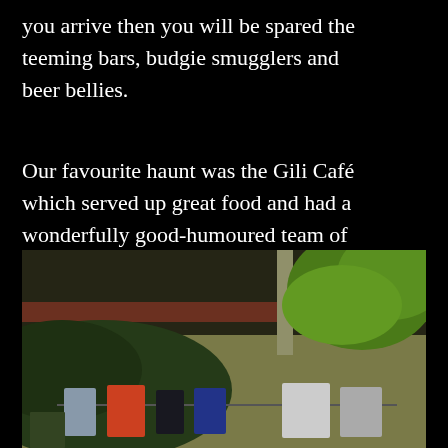you arrive then you will be spared the teeming bars, budgie smugglers and beer bellies.
Our favourite haunt was the Gili Café which served up great food and had a wonderfully good-humoured team of hard working staff.
[Figure (photo): Outdoor photo showing a thatched-roof building or bungalow with green foliage including bright green leaves on the right side. In the foreground is a clothesline with various items of laundry hanging, including grey, red/orange, black, blue, and white garments. The setting appears tropical.]